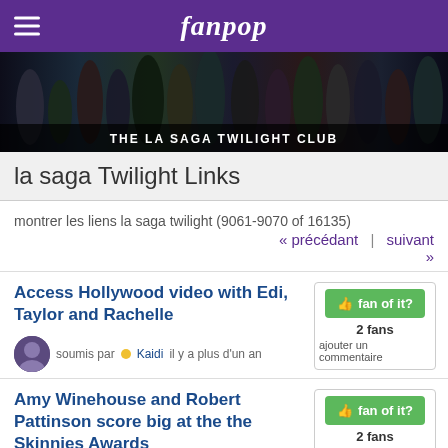fanpop
[Figure (photo): Banner image showing cast of Twilight Saga with multiple characters, dark cinematic tone. Overlaid text: THE LA SAGA TWILIGHT CLUB]
la saga Twilight Links
montrer les liens la saga twilight (9061-9070 of 16135)
« précédant  |  suivant »
Access Hollywood video with Edi, Taylor and Rachelle
soumis par  Kaidi il y a plus d'un an
2 fans
ajouter un commentaire
Amy Winehouse and Robert Pattinson score big at the the Skinnies Awards
soumis par  Zeisha il y a plus d'un an
2 fans
ajouter un commentaire
Private Lunch with Jackson, Kellan,